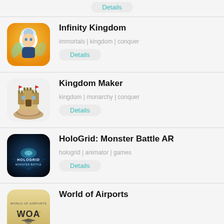Details
[Figure (illustration): Infinity Kingdom app icon — anime character with white hair on orange/yellow gradient background, rounded square]
Infinity Kingdom
immortals | kingdom | conquer
Details
[Figure (illustration): Kingdom Maker app icon — castle on rocky hand with red flags, white/light background, rounded square]
Kingdom Maker
kingdom | monarchy | conquer
Details
[Figure (illustration): HoloGrid: Monster Battle AR app icon — dark blue glowing grid with HOLOGRID MONSTER BATTLE text, rounded square]
HoloGrid: Monster Battle AR
hologrid | animator | games
Details
[Figure (illustration): World of Airports app icon — beige/tan background with WOA logo and airplane silhouette]
World of Airports